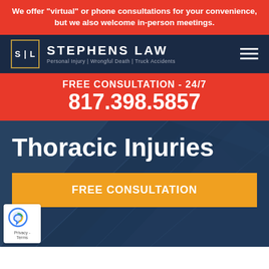We offer "virtual" or phone consultations for your convenience, but we also welcome in-person meetings.
[Figure (logo): Stephens Law logo with S|L monogram in gold border and firm name in white on dark navy background]
FREE CONSULTATION - 24/7
817.398.5857
Thoracic Injuries
FREE CONSULTATION